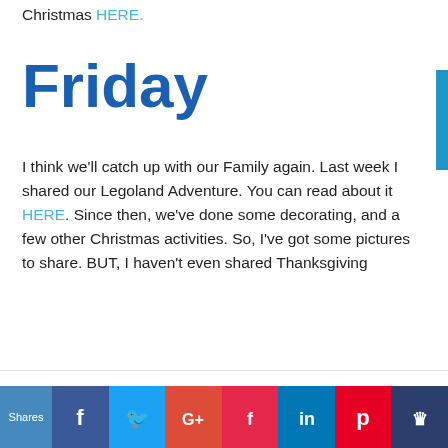Christmas HERE.
Friday
I think we'll catch up with our Family again. Last week I shared our Legoland Adventure. You can read about it HERE. Since then, we've done some decorating, and a few other Christmas activities. So, I've got some pictures to share. BUT, I haven't even shared Thanksgiving
We use cookies on our website to give you the most relevant experience by remembering your preferences and repeat visits. By clicking “Accept All”, you consent to the use of ALL the cookies. However, you may visit "Cookie Settings" to provide a controlled consent.
Shares | Facebook | Twitter | Google+ | Flipboard | LinkedIn | Pinterest | Crown